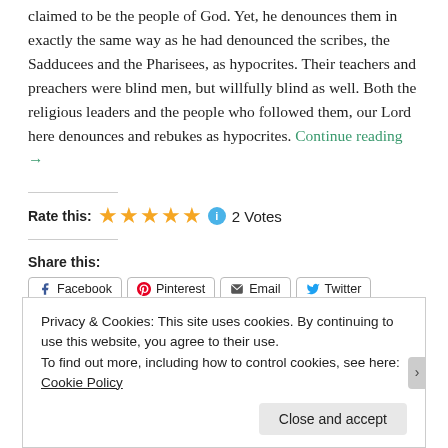claimed to be the people of God. Yet, he denounces them in exactly the same way as he had denounced the scribes, the Sadducees and the Pharisees, as hypocrites. Their teachers and preachers were blind men, but willfully blind as well. Both the religious leaders and the people who followed them, our Lord here denounces and rebukes as hypocrites. Continue reading →
Rate this: ★★★★★ 2 Votes
Share this:
Facebook Pinterest Email Twitter Reddit LinkedIn Tumblr WhatsApp Print Skype
Privacy & Cookies: This site uses cookies. By continuing to use this website, you agree to their use.
To find out more, including how to control cookies, see here: Cookie Policy